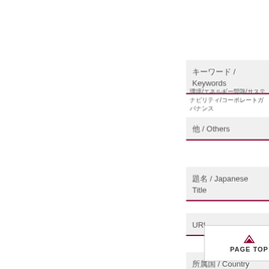キーワード / Keywords
環境/エネルギー問題/サステナビリティ/コーポレートガバナンス
他 / Others
題名 / Japanese Title
URL
所属国 / Country